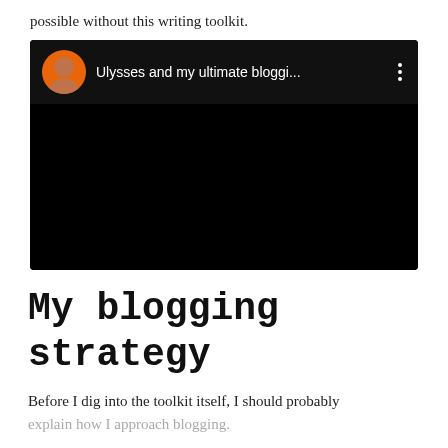possible without this writing toolkit.
[Figure (screenshot): Embedded video player screenshot with black background. Shows a circular avatar with an orange background (headshot of a bald man), the title 'Ulysses and my ultimate bloggi...' in white text, and a three-dot menu icon on the right.]
My blogging strategy
Before I dig into the toolkit itself, I should probably explain how I approach blogging.